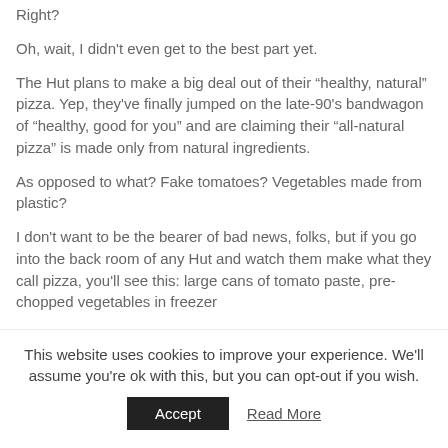Right?
Oh, wait, I didn't even get to the best part yet.
The Hut plans to make a big deal out of their “healthy, natural” pizza. Yep, they've finally jumped on the late-90's bandwagon of “healthy, good for you” and are claiming their “all-natural pizza” is made only from natural ingredients.
As opposed to what? Fake tomatoes? Vegetables made from plastic?
I don't want to be the bearer of bad news, folks, but if you go into the back room of any Hut and watch them make what they call pizza, you'll see this: large cans of tomato paste, pre-chopped vegetables in freezer
This website uses cookies to improve your experience. We'll assume you're ok with this, but you can opt-out if you wish.
Accept
Read More